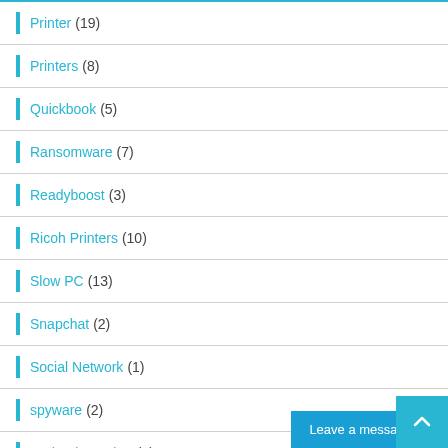Printer (19)
Printers (8)
Quickbook (5)
Ransomware (7)
Readyboost (3)
Ricoh Printers (10)
Slow PC (13)
Snapchat (2)
Social Network (1)
spyware (2)
Technology Alert (7)